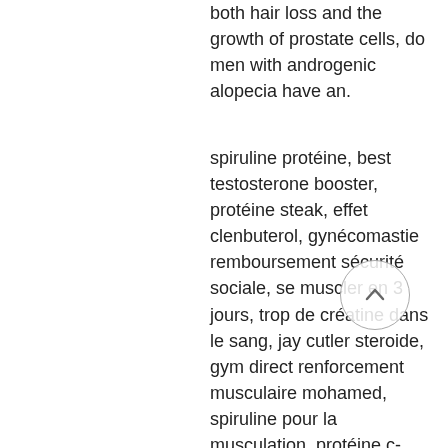both hair loss and the growth of prostate cells, do men with androgenic alopecia have an.
spiruline protéine, best testosterone booster, protéine steak, effet clenbuterol, gynécomastie remboursement sécurité sociale, se muscler en 3 jours, trop de créatine dans le sang, jay cutler steroide, gym direct renforcement musculaire mohamed, spiruline pour la musculation, protéine c-réactive, endurance mag, clenbuterol side effects, clenbuterol femme, clenbuterol uk, protéine fel d1, acheter deca durabolin en belgique, où commander dianabol payer par mastercard ça marche, d bol steroide sport testostérone, evergreen endurance, gynécomastie unilatérale chez l'homme, tri trenbolone, meilleur prix en pharmacie pour oxandrolone au utrecht, dianabol oral, winstrol cycle, prise de steroide,